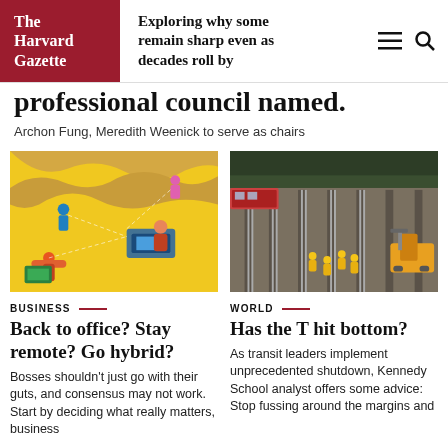The Harvard Gazette | Exploring why some remain sharp even as decades roll by
professional council named
Archon Fung, Meredith Weenick to serve as chairs
[Figure (illustration): Colorful illustration on yellow background showing people working remotely and in office settings]
BUSINESS
Back to office? Stay remote? Go hybrid?
Bosses shouldn't just go with their guts, and consensus may not work. Start by deciding what really matters, business
[Figure (photo): Aerial photo of railway tracks with workers in high-visibility vests and construction equipment]
WORLD
Has the T hit bottom?
As transit leaders implement unprecedented shutdown, Kennedy School analyst offers some advice: Stop fussing around the margins and